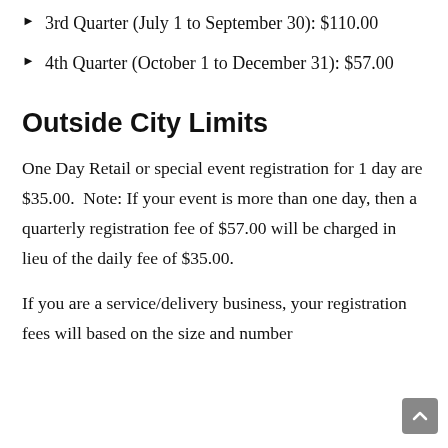3rd Quarter (July 1 to September 30): $110.00
4th Quarter (October 1 to December 31): $57.00
Outside City Limits
One Day Retail or special event registration for 1 day are $35.00.  Note: If your event is more than one day, then a quarterly registration fee of $57.00 will be charged in lieu of the daily fee of $35.00.
If you are a service/delivery business, your registration fees will based on the size and number of vehicles in its fleet. Charges and the fees are of